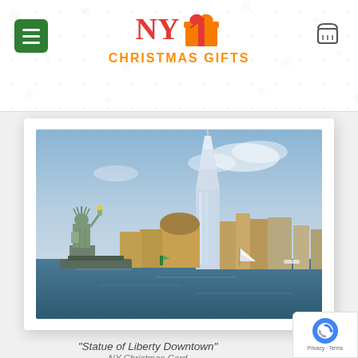NY Christmas Gifts
[Figure (photo): Photograph of the New York City skyline featuring the Statue of Liberty in the foreground on the left and the One World Trade Center and Manhattan buildings in the background, taken from the water with a sailboat visible.]
"Statue of Liberty Downtown"
NY Christmas Card
HPC-2160